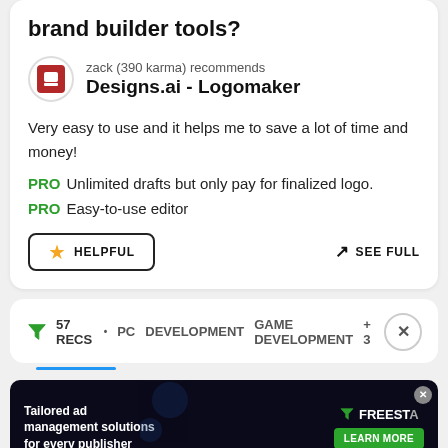brand builder tools?
zack (390 karma) recommends
Designs.ai - Logomaker
Very easy to use and it helps me to save a lot of time and money!
PRO Unlimited drafts but only pay for finalized logo.
PRO Easy-to-use editor
HELPFUL   SEE FULL
57 RECS • PC DEVELOPMENT GAME DEVELOPMENT +3
[Figure (screenshot): Advertisement banner: Tailored ad management solutions for every publisher – FREESTA, LEARN MORE button]